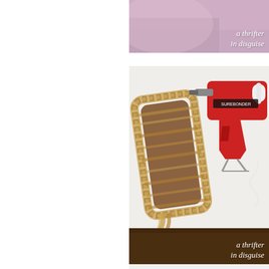[Figure (photo): Partial view of a craft project photo at top right, showing a purple/pink background with white italic text overlay reading 'a thrifter in disguise']
[Figure (photo): Photo of a wooden piece wrapped in braided jute/twine rope alongside a red Surebonder hot glue gun on a white surface, with dark wood strip at bottom and white italic text overlay reading 'a thrifter in disguise']